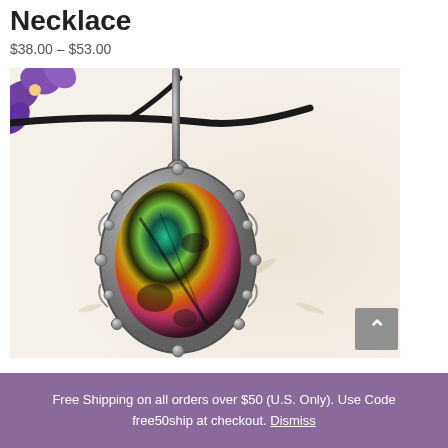Necklace
$38.00 – $53.00
[Figure (photo): A colorful butterfly wing necklace pendant in a silver ornate oval setting with decorative beaded border, hanging from a silver chain, photographed against a light background with purple flowers and dark branches]
Free Shipping on all orders over $50 (U.S. Only). Use Code free50ship at checkout. Dismiss